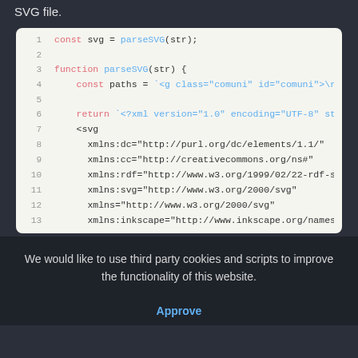SVG file.
[Figure (screenshot): Code editor screenshot showing JavaScript code that parses an SVG file. Lines 1-13 visible, with syntax highlighting: keywords in red/pink, function names in blue. Code includes const svg = parseSVG(str); function definition, template literal with SVG XML content including xmlns attributes.]
We would like to use third party cookies and scripts to improve the functionality of this website.
Approve